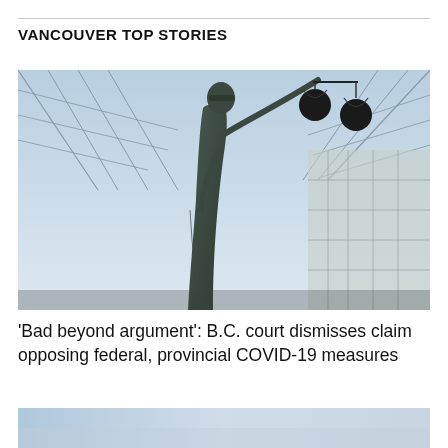VANCOUVER TOP STORIES
[Figure (photo): Low-angle photograph of a bronze Lady Justice statue holding scales, set inside a building with a glass and steel ceiling/roof structure. The statue is viewed from below, showing the figure's robes and outstretched arm holding balance scales against a backdrop of geometric glass panels.]
'Bad beyond argument': B.C. court dismisses claim opposing federal, provincial COVID-19 measures
[Figure (photo): Partial view of a second photo at the bottom of the page, showing a light blue sky or water scene, partially visible.]